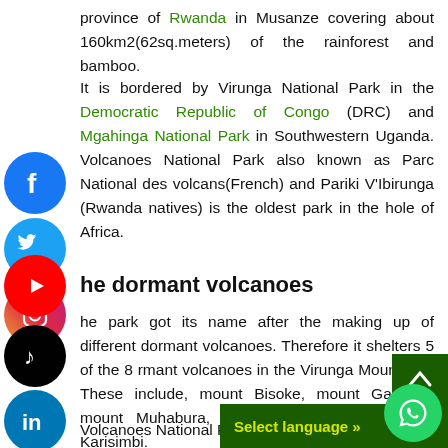province of Rwanda in Musanze covering about 160km2(62sq.meters) of the rainforest and bamboo.
It is bordered by Virunga National Park in the Democratic Republic of Congo (DRC) and Mgahinga National Park in Southwestern Uganda. Volcanoes National Park also known as Parc National des volcans(French) and Pariki V'Ibirunga (Rwanda natives) is the oldest park in the whole of Africa.
The dormant volcanoes
The park got its name after the making up of different dormant volcanoes. Therefore it shelters 5 of the 8 dormant volcanoes in the Virunga Mountains. These include, mount Bisoke, mount Gahinga, mount Muhabura, mount Sabinyo, and mount Karisimbi.
Volcanoes National Park is a s